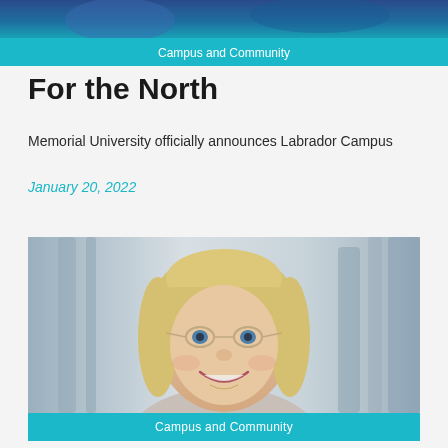[Figure (photo): Top banner area with blue/teal gradient background showing partial image]
Campus and Community
For the North
Memorial University officially announces Labrador Campus
January 20, 2022
[Figure (photo): Portrait photo of a smiling woman with short blonde hair and glasses, wearing a light grey blazer, in a bright indoor setting]
Campus and Community